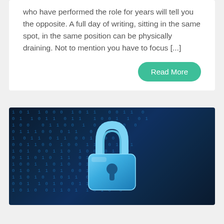who have performed the role for years will tell you the opposite. A full day of writing, sitting in the same spot, in the same position can be physically draining. Not to mention you have to focus [...]
Read More
[Figure (photo): A blue 3D padlock on a dark background covered with binary code (0s and 1s), representing digital security or cybersecurity.]